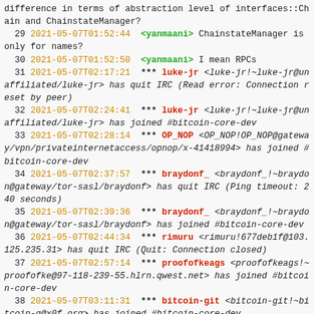difference in terms of abstraction level of interfaces::Chain and ChainstateManager?
29 2021-05-07T01:52:44 <yanmaani> ChainstateManager is only for names?
30 2021-05-07T01:52:50 <yanmaani> I mean RPCs
31 2021-05-07T02:17:21 *** luke-jr <luke-jr!~luke-jr@unaffiliated/luke-jr> has quit IRC (Read error: Connection reset by peer)
32 2021-05-07T02:24:41 *** luke-jr <luke-jr!~luke-jr@unaffiliated/luke-jr> has joined #bitcoin-core-dev
33 2021-05-07T02:28:14 *** OP_NOP <OP_NOP!OP_NOP@gateway/vpn/privateinternetaccess/opnop/x-41418994> has joined #bitcoin-core-dev
34 2021-05-07T02:37:57 *** braydonf_ <braydonf_!~braydon@gateway/tor-sasl/braydonf> has quit IRC (Ping timeout: 240 seconds)
35 2021-05-07T02:39:36 *** braydonf_ <braydonf_!~braydon@gateway/tor-sasl/braydonf> has joined #bitcoin-core-dev
36 2021-05-07T02:44:34 *** rimuru <rimuru!677deb1f@103.125.235.31> has quit IRC (Quit: Connection closed)
37 2021-05-07T02:57:14 *** proofofkeags <proofofkeags!~proofofke@97-118-239-55.hlrn.qwest.net> has joined #bitcoin-core-dev
38 2021-05-07T03:11:31 *** bitcoin-git <bitcoin-git!~bitcoin-g@x0f.org> has joined #bitcoin-core-dev
39 2021-05-07T03:11:32 <bitcoin-git> [bitcoin]